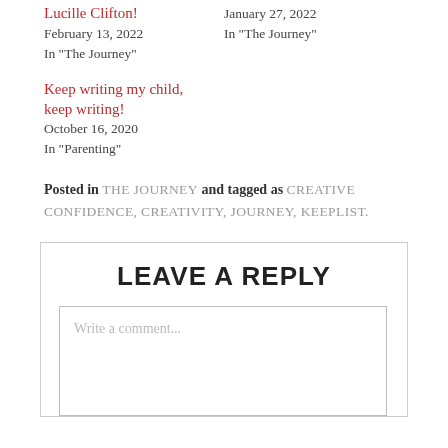Lucille Clifton!
February 13, 2022
In "The Journey"
January 27, 2022
In "The Journey"
Keep writing my child, keep writing!
October 16, 2020
In "Parenting"
Posted in THE JOURNEY and tagged as CREATIVE CONFIDENCE, CREATIVITY, JOURNEY, KEEPLIST.
LEAVE A REPLY
Write a comment...